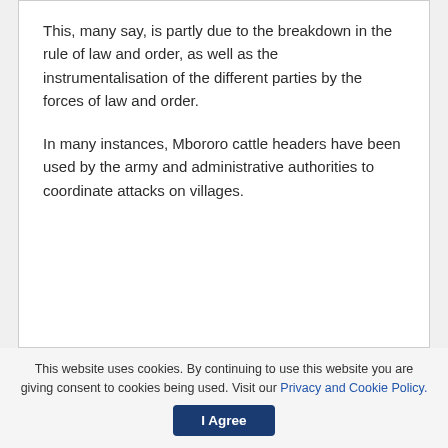This, many say, is partly due to the breakdown in the rule of law and order, as well as the instrumentalisation of the different parties by the forces of law and order.
In many instances, Mbororo cattle headers have been used by the army and administrative authorities to coordinate attacks on villages.
This website uses cookies. By continuing to use this website you are giving consent to cookies being used. Visit our Privacy and Cookie Policy. [I Agree]